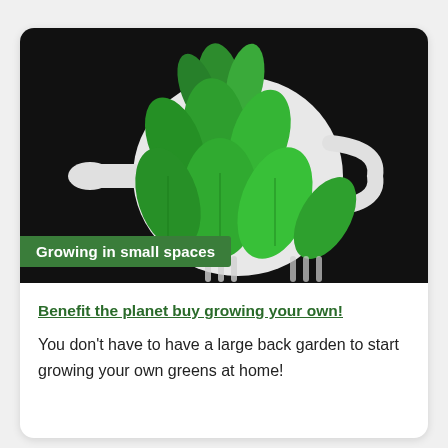[Figure (photo): Overhead view of fresh green mint leaves in a white teapot/pot on a dark background, with a green banner overlay reading 'Growing in small spaces']
Benefit the planet buy growing your own!
You don't have to have a large back garden to start growing your own greens at home!